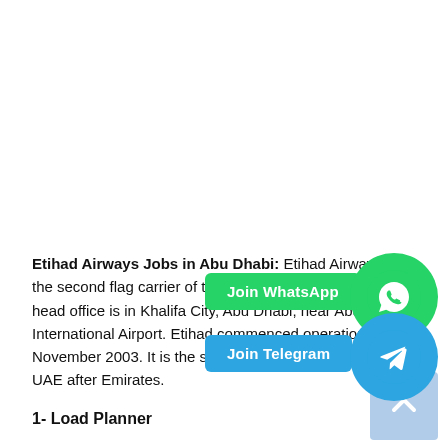Etihad Airways Jobs in Abu Dhabi: Etihad Airways is the second flag carrier of the United Arab Emirates. Its head office is in Khalifa City, Abu Dhabi, near Abu Dhabi International Airport. Etihad commenced operations in November 2003. It is the second largest airline in the UAE after Emirates.
1- Load Planner